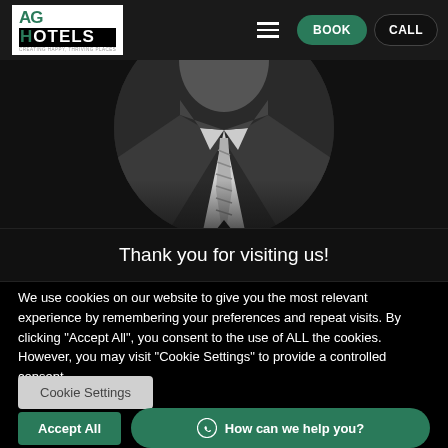[Figure (logo): AG Hotels logo with white background, green accent letters, and tagline 'CREATING HAPPY, THRIVING PLACES']
[Figure (photo): Black and white circular portrait photo of a man in a suit and tie, upper body visible]
Thank you for visiting us!
We use cookies on our website to give you the most relevant experience by remembering your preferences and repeat visits. By clicking "Accept All", you consent to the use of ALL the cookies. However, you may visit "Cookie Settings" to provide a controlled consent.
Cookie Settings
Accept All
How can we help you?